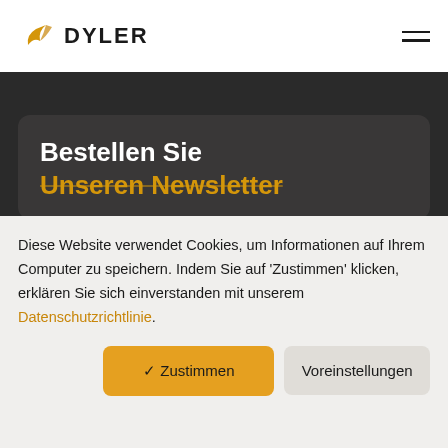[Figure (logo): Dyler logo: golden wing icon and bold 'DYLER' text in dark color]
Bestellen Sie
Unseren Newsletter
Diese Website verwendet Cookies, um Informationen auf Ihrem Computer zu speichern. Indem Sie auf 'Zustimmen' klicken, erklären Sie sich einverstanden mit unserem Datenschutzrichtlinie.